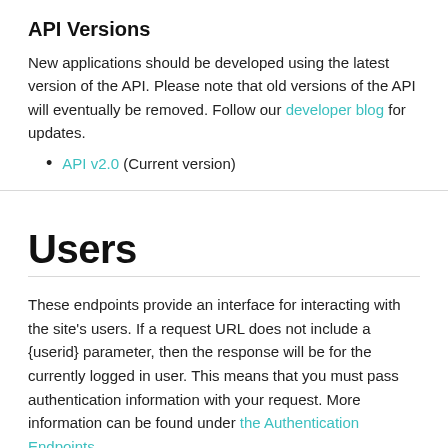API Versions
New applications should be developed using the latest version of the API. Please note that old versions of the API will eventually be removed. Follow our developer blog for updates.
API v2.0 (Current version)
Users
These endpoints provide an interface for interacting with the site's users. If a request URL does not include a {userid} parameter, then the response will be for the currently logged in user. This means that you must pass authentication information with your request. More information can be found under the Authentication Endpoints.
GET /users